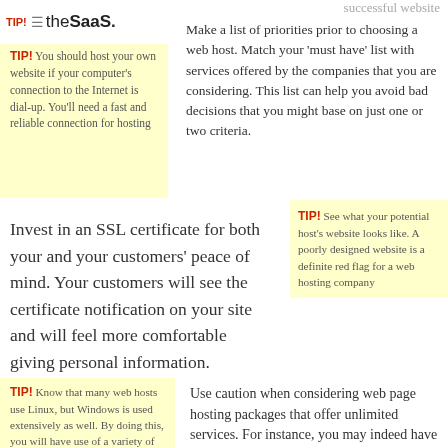theSaaS.
successful website
TIP! You should host your own website if your computer's connection to the Internet is dial-up. You'll need a fast and reliable connection for hosting
Make a list of priorities prior to choosing a web host. Match your 'must have' list with services offered by the companies that you are considering. This list can help you avoid bad decisions that you might base on just one or two criteria.
Invest in an SSL certificate for both your and your customers' peace of mind. Your customers will see the certificate notification on your site and will feel more comfortable giving personal information.
TIP! See what your potential host's website looks like. A poorly designed website is a definite red flag for a web hosting company
TIP! Know that many web hosts use Linux, but Windows is used extensively as well. By doing this, you will have use of a variety of different options and you will have to learn how to
Use caution when considering web page hosting packages that offer unlimited services. For instance, you may indeed have unlimited storage, but the company may limit the type of files that can be stored. In addition, sometimes payment plans are